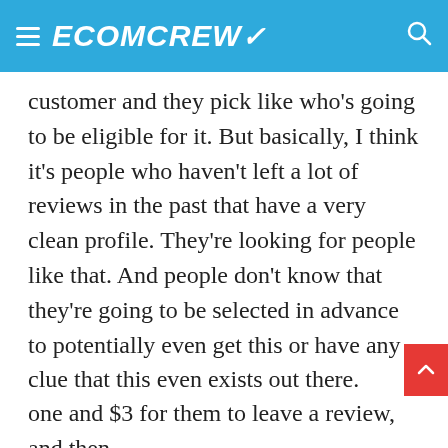ECOMCREW
customer and they pick like who's going to be eligible for it. But basically, I think it's people who haven't left a lot of reviews in the past that have a very clean profile. They're looking for people like that. And people don't know that they're going to be selected in advance to potentially even get this or have any clue that this even exists out there.
And then Amazon will offer somewhere between one and $3 for them to leave a review, and then the review is designated early reviewer program